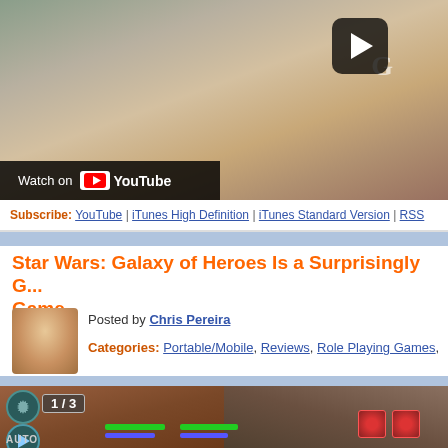[Figure (screenshot): YouTube video thumbnail showing a Google Pixel phone being held, with a 'Watch on YouTube' overlay bar at bottom left]
Subscribe: YouTube | iTunes High Definition | iTunes Standard Version | RSS
Star Wars: Galaxy of Heroes Is a Surprisingly G... Game
Posted by Chris Pereira
Categories: Portable/Mobile, Reviews, Role Playing Games,
[Figure (screenshot): In-game screenshot of Star Wars: Galaxy of Heroes showing HUD with gear icon, 1/3 counter, play button, AUTO label, health bars, and enemy icons against a battle background]